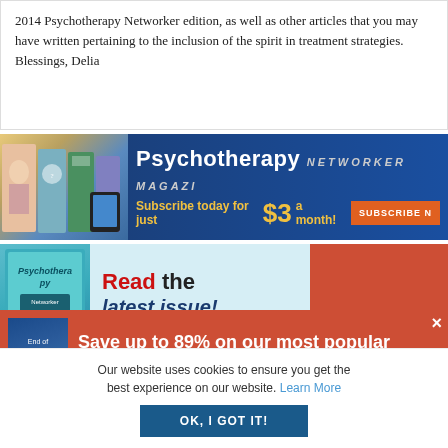2014 Psychotherapy Networker edition, as well as other articles that you may have written pertaining to the inclusion of the spirit in treatment strategies. Blessings, Delia
[Figure (screenshot): Psychotherapy Networker Magazine banner ad with blue background. Text: 'Psychotherapy NETWORKER MAGAZINE — Subscribe today for just $3 a month!' with orange Subscribe Now button.]
[Figure (screenshot): Second banner showing a teal Psychotherapy Networker book and text 'Read the latest issue!']
[Figure (screenshot): Red popup banner with book thumbnail labeled 'End of Summer Sale' and headline 'Save up to 89% on our most popular online trainings.' with close X button.]
Our website uses cookies to ensure you get the best experience on our website. Learn More
OK, I GOT IT!